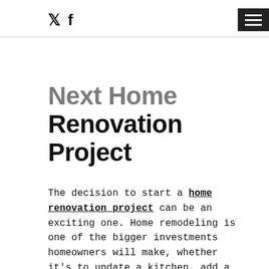Twitter Facebook [menu]
Next Home Renovation Project
The decision to start a home renovation project can be an exciting one. Home remodeling is one of the bigger investments homeowners will make, whether it's to update a kitchen, add a garage or create a family room to enjoy, the choices you make for the project will be huge. If you make a mistake and need to make changes, it can quickly add up in